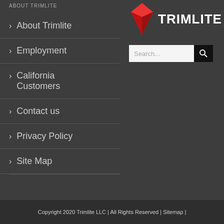ABOUT TRIMLITE
[Figure (logo): Trimlite logo with red diamond shape and bold white text TRIMLITE]
About Trimlite
Employment
California Customers
Contact us
Privacy Policy
Site Map
[Figure (other): Search bar with text input and search button]
Copyright 2020 Trimlite LLC | All Rights Reserved | Sitemap |